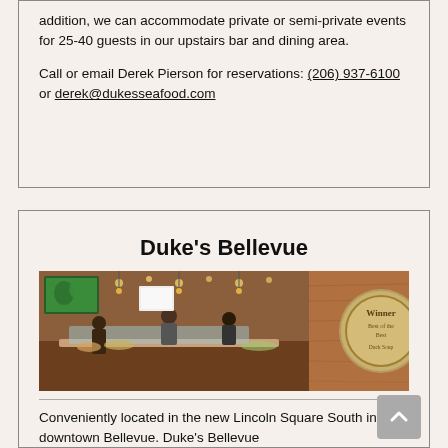addition, we can accommodate private or semi-private events for 25-40 guests in our upstairs bar and dining area.
Call or email Derek Pierson for reservations: (206) 937-6100 or derek@dukesseafood.com
Duke's Bellevue
[Figure (photo): Interior photo of Duke's Bellevue restaurant showing the bar and dining area with staff working, and a round award plaque on a wooden wall on the right side.]
Conveniently located in the new Lincoln Square South in downtown Bellevue. Duke's Bellevue...